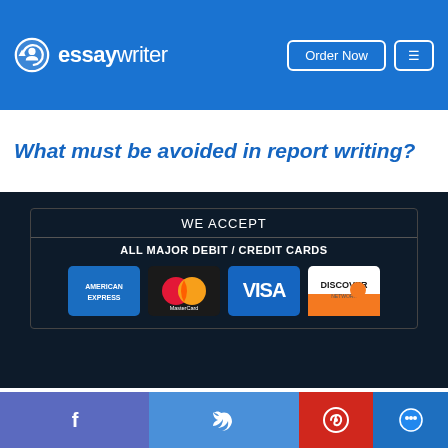[Figure (logo): essaywriter logo with circular arrow icon in blue header]
What must be avoided in report writing?
[Figure (infographic): We Accept All Major Debit / Credit Cards section showing American Express, MasterCard, Visa, and Discover Network logos]
©2022 - All rights reserved
Privacy Policy | Terms & Conditions | Contact
[Figure (infographic): Social media share bar with Facebook, Twitter, Pinterest, and chat icons]